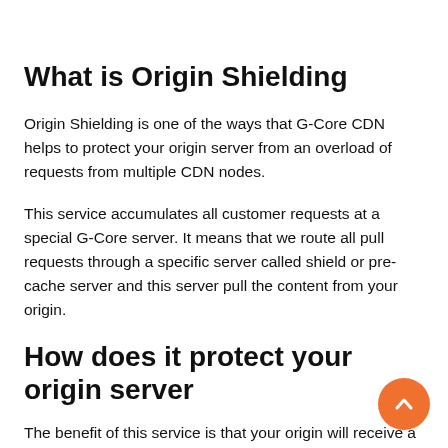What is Origin Shielding
Origin Shielding is one of the ways that G-Core CDN helps to protect your origin server from an overload of requests from multiple CDN nodes.
This service accumulates all customer requests at a special G-Core server. It means that we route all pull requests through a specific server called shield or pre-cache server and this server pull the content from your origin.
How does it protect your origin server
The benefit of this service is that your origin will receive a lower volume of requests for content from a CDN as the aggregation process automatically do duplicates identical